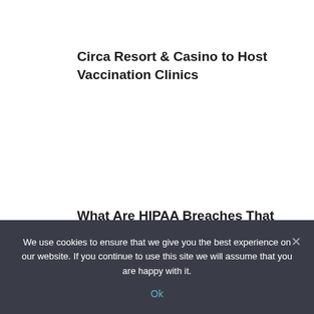Circa Resort & Casino to Host Vaccination Clinics
What Are HIPAA Breaches That You Should Know?
Getting Through The Vegas Holiday Season With An Addiction
Las Vegas Airport Begins Name...
We use cookies to ensure that we give you the best experience on our website. If you continue to use this site we will assume that you are happy with it.
Ok